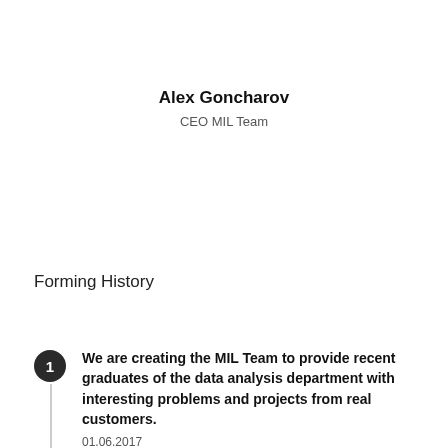Alex Goncharov
CEO MIL Team
Forming History
We are creating the MIL Team to provide recent graduates of the data analysis department with interesting problems and projects from real customers.
01.06.2017